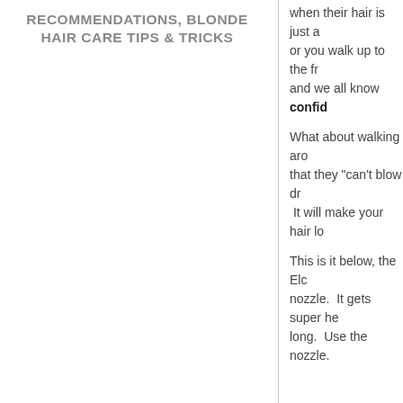RECOMMENDATIONS, BLONDE HAIR CARE TIPS & TRICKS
when their hair is just a or you walk up to the fr and we all know confid
What about walking ar that they “can't blow dr It will make your hair lo
This is it below, the Elc nozzle. It gets super he long. Use the nozzle.